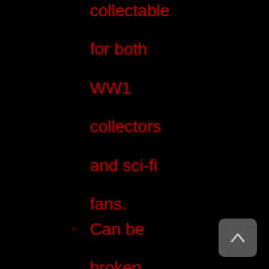collectable for both WW1 collectors and sci-fi fans.
Can be broken down as seen in last pic.
Weathered finish w/RED Top Ring.